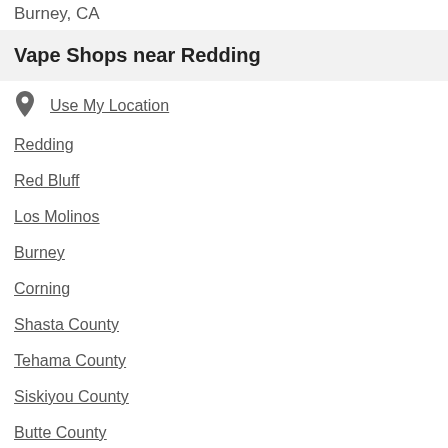Burney, CA
Vape Shops near Redding
Use My Location
Redding
Red Bluff
Los Molinos
Burney
Corning
Shasta County
Tehama County
Siskiyou County
Butte County